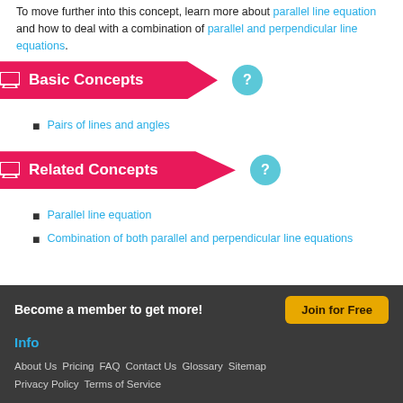To move further into this concept, learn more about parallel line equation and how to deal with a combination of parallel and perpendicular line equations.
Basic Concepts
Pairs of lines and angles
Related Concepts
Parallel line equation
Combination of both parallel and perpendicular line equations
Become a member to get more!
Info
About Us  Pricing  FAQ  Contact Us  Glossary  Sitemap  Privacy Policy  Terms of Service